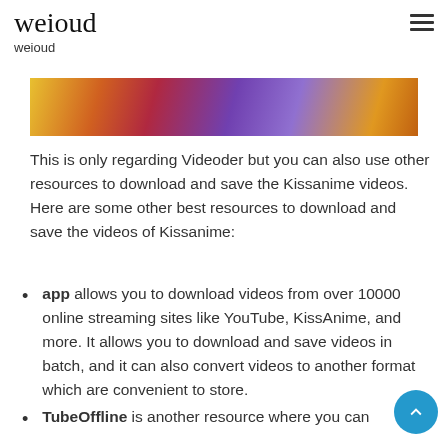weioud
weioud
[Figure (photo): Partial view of colorful anime-related image with yellow, orange, red, purple, and blue colors]
This is only regarding Videoder but you can also use other resources to download and save the Kissanime videos. Here are some other best resources to download and save the videos of Kissanime:
app allows you to download videos from over 10000 online streaming sites like YouTube, KissAnime, and more. It allows you to download and save videos in batch, and it can also convert videos to another format which are convenient to store.
TubeOffline is another resource where you can